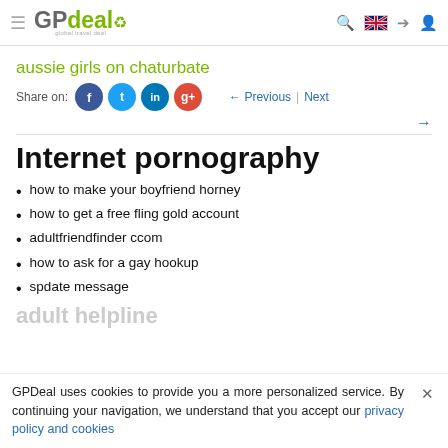GPdeal – navigation bar with logo, hamburger, search, flag, login, user icons
aussie girls on chaturbate
Share on:
← Previous | Next →
Internet pornography
how to make your boyfriend horney
how to get a free fling gold account
adultfriendfinder ccom
how to ask for a gay hookup
spdate message
GPDeal uses cookies to provide you a more personalized service. By continuing your navigation, we understand that you accept our privacy policy and cookies